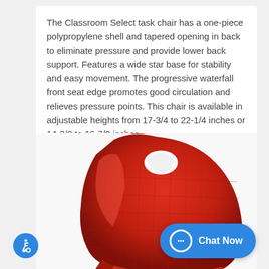The Classroom Select task chair has a one-piece polypropylene shell and tapered opening in back to eliminate pressure and provide lower back support. Features a wide star base for stability and easy movement. The progressive waterfall front seat edge promotes good circulation and relieves pressure points. This chair is available in adjustable heights from 17-3/4 to 22-1/4 inches or 14-3/8 to 16-7/8 inches.
[Figure (photo): A red Classroom Select task chair viewed from behind at an angle, showing the one-piece polypropylene shell with a triangular handle cutout at the top and grid-pattern texture on the back.]